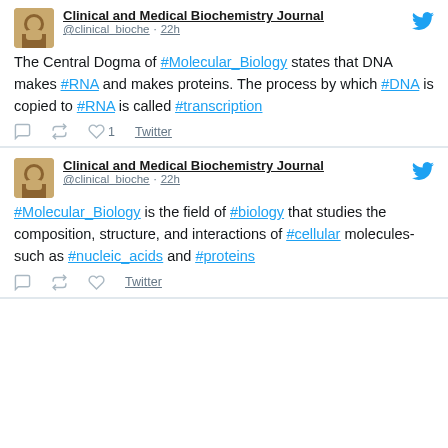[Figure (screenshot): Tweet from Clinical and Medical Biochemistry Journal about the Central Dogma of Molecular Biology]
Clinical and Medical Biochemistry Journal @clinical_bioche · 22h The Central Dogma of #Molecular_Biology states that DNA makes #RNA and makes proteins. The process by which #DNA is copied to #RNA is called #transcription
[Figure (screenshot): Tweet from Clinical and Medical Biochemistry Journal about Molecular Biology field]
Clinical and Medical Biochemistry Journal @clinical_bioche · 22h #Molecular_Biology is the field of #biology that studies the composition, structure, and interactions of #cellular molecules-such as #nucleic_acids and #proteins